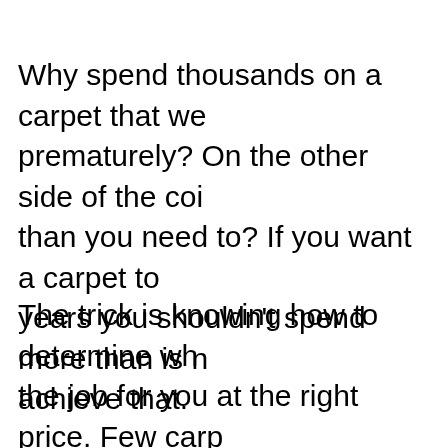Why spend thousands on a carpet that wears out prematurely? On the other side of the coin, than you need to? If you want a carpet to last years you shouldn't spend more than is necessary to achieve that.
The trick is knowing how to determine what will do the job for you at the right price. Few carpet salespeople are going to know this information. They just want to make a sale and will applaud any choice you make, whether it's a good choice or not. Check out my Carpet Chart